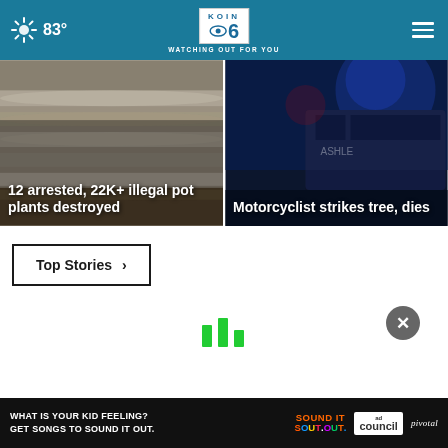KOIN 6 CBS — WATCHING OUT FOR YOU — 83°
[Figure (photo): Aerial view of illegal cannabis greenhouse pipes and plants]
12 arrested, 22K+ illegal pot plants destroyed
[Figure (photo): Police van with blue emergency lights at night scene]
Motorcyclist strikes tree, dies
Top Stories ▶
[Figure (infographic): Loading indicator bars in green and close X button]
WHAT IS YOUR KID FEELING? GET SONGS TO SOUND IT OUT. SOUND IT OUT ad council pivotal